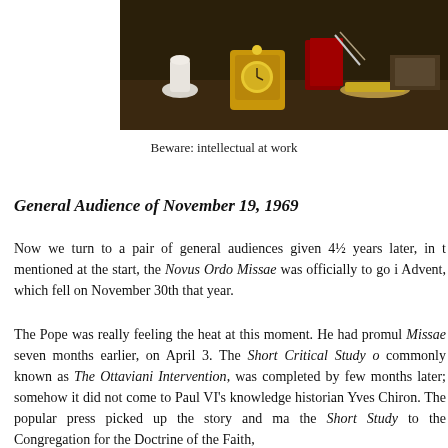[Figure (photo): A photograph showing decorative objects on a desk including a white figurine, a gold ornate clock, and other items in a formal setting.]
Beware: intellectual at work
General Audience of November 19, 1969
Now we turn to a pair of general audiences given 4½ years later, in t mentioned at the start, the Novus Ordo Missae was officially to go i Advent, which fell on November 30th that year.
The Pope was really feeling the heat at this moment. He had promul Missae seven months earlier, on April 3. The Short Critical Study o commonly known as The Ottaviani Intervention, was completed by few months later; somehow it did not come to Paul VI's knowledge historian Yves Chiron. The popular press picked up the story and ma the Short Study to the Congregation for the Doctrine of the Faith,